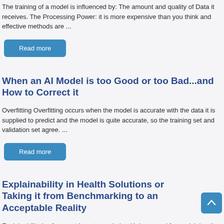The training of a model is influenced by: The amount and quality of Data it receives. The Processing Power: it is more expensive than you think and effective methods are ...
Read more
When an AI Model is too Good or too Bad...and How to Correct it
Overfitting Overfitting occurs when the model is accurate with the data it is supplied to predict and the model is quite accurate, so the training set and validation set agree. ...
Read more
Explainability in Health Solutions or Taking it from Benchmarking to an Acceptable Reality
Explainability is of upmost importance in health in general for explaining the benefit of the patient, and not the least gaining his or her